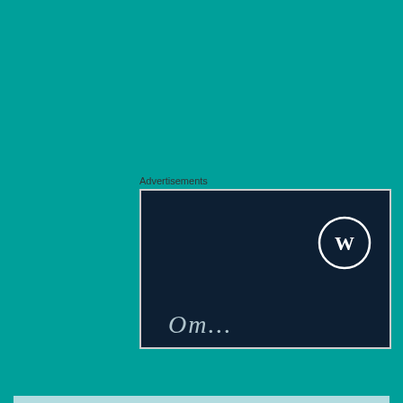[Figure (screenshot): Teal/turquoise background with Advertisements label and dark navy advertisement box containing WordPress logo and partial italic text 'Om...' at bottom]
LAURIE says:
MAY 23, 2020 AT 12:51
Privacy & Cookies: This site uses cookies. By continuing to use this website, you agree to their use.
To find out more, including how to control cookies, see here: Cookie Policy
Close and accept